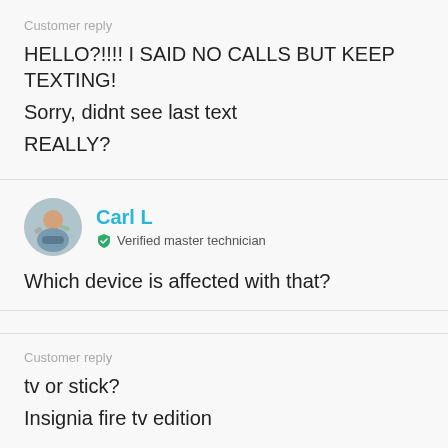Customer reply
HELLO?!!!! I SAID NO CALLS BUT KEEP TEXTING!
Sorry, didnt see last text
REALLY?
Carl L
Verified master technician
Which device is affected with that?
Customer reply
tv or stick?
Insignia fire tv edition